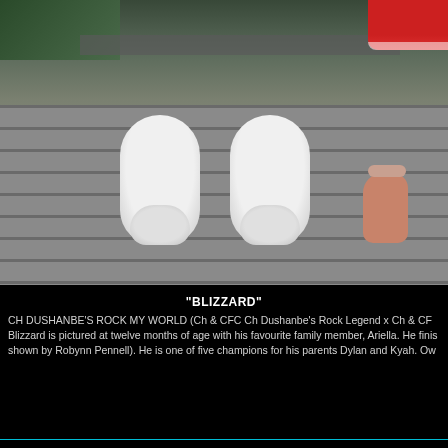[Figure (photo): Close-up photo of a large white dog's front paws and a child's bare feet side by side on a grey wooden deck. Green foliage visible in background top left. Child wearing red dress visible top right corner.]
"BLIZZARD"
CH DUSHANBE'S ROCK MY WORLD (Ch & CFC Ch Dushanbe's Rock Legend x Ch & CF... Blizzard is pictured at twelve months of age with his favourite family member, Ariella. He finis... shown by Robynn Pennell). He is one of five champions for his parents Dylan and Kyah. Ow...